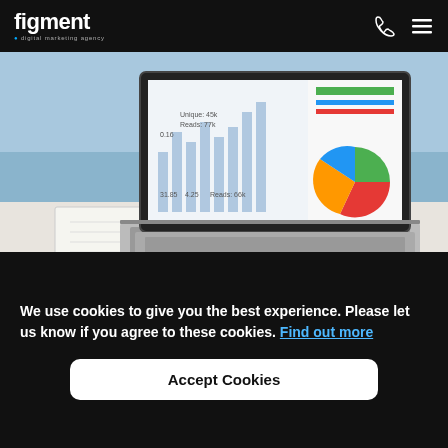figment digital marketing agency
[Figure (photo): Laptop computer with analytics dashboard on screen showing bar charts and pie charts, with a notebook beside it on a white desk]
We use cookies to give you the best experience. Please let us know if you agree to these cookies. Find out more
Accept Cookies